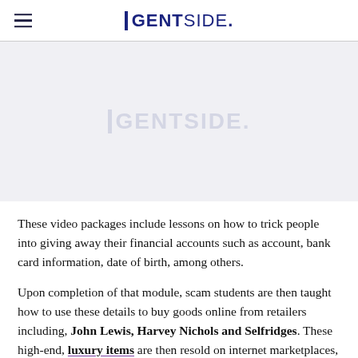GENTSIDE.
[Figure (other): Gentside watermark/logo placeholder image area with light grey background]
These video packages include lessons on how to trick people into giving away their financial accounts such as account, bank card information, date of birth, among others.
Upon completion of that module, scam students are then taught how to use these details to buy goods online from retailers including, John Lewis, Harvey Nichols and Selfridges. These high-end, luxury items are then resold on internet marketplaces, the most